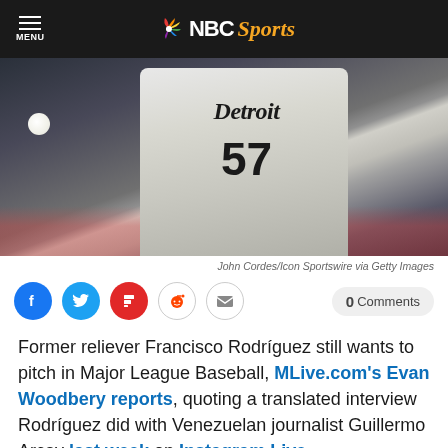NBC Sports
[Figure (photo): Baseball pitcher wearing Detroit Tigers jersey number 57 in a throwing motion during a night game]
John Cordes/Icon Sportswire via Getty Images
[Figure (infographic): Social share buttons: Facebook, Twitter, Flipboard, Reddit, Email, and 0 Comments button]
Former reliever Francisco Rodríguez still wants to pitch in Major League Baseball, MLive.com's Evan Woodbery reports, quoting a translated interview Rodríguez did with Venezuelan journalist Guillermo Arcay last week on Instagram Live.